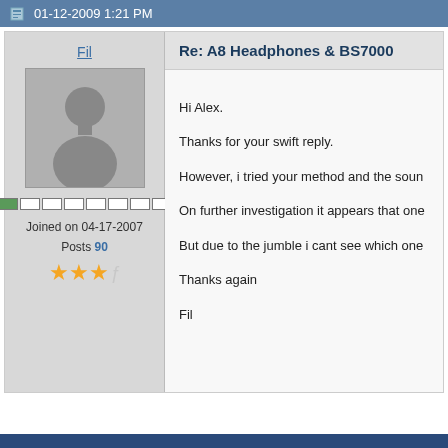01-12-2009 1:21 PM
Fil
[Figure (illustration): Default avatar silhouette of a person on grey background]
Joined on 04-17-2007
Posts 90
Re: A8 Headphones & BS7000
Hi Alex.

Thanks for your swift reply.

However, i tried your method and the soun

On further investigation it appears that one

But due to the jumble i cant see which one

Thanks again

Fil